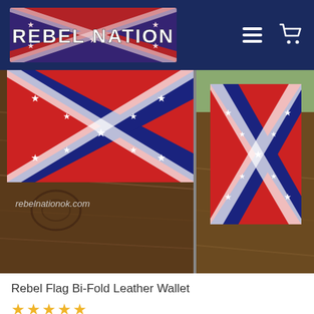REBEL NATION
[Figure (photo): Two photos of a Rebel Flag Bi-Fold Leather Wallet showing the Confederate flag design on brown wood background. Left image shows wallet open, right image shows wallet closed. Watermark: rebelnationok.com]
Rebel Flag Bi-Fold Leather Wallet
★★★★★
$12.95 – $16.95